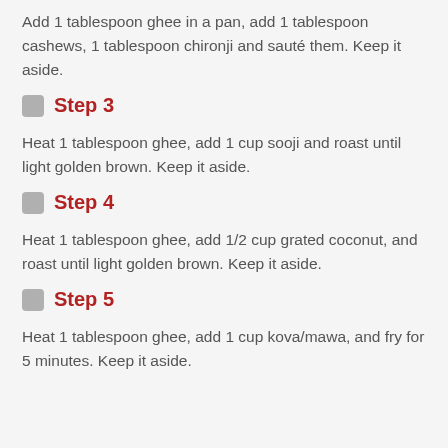Add 1 tablespoon ghee in a pan, add 1 tablespoon cashews, 1 tablespoon chironji and sauté them. Keep it aside.
Step 3
Heat 1 tablespoon ghee, add 1 cup sooji and roast until light golden brown. Keep it aside.
Step 4
Heat 1 tablespoon ghee, add 1/2 cup grated coconut, and roast until light golden brown. Keep it aside.
Step 5
Heat 1 tablespoon ghee, add 1 cup kova/mawa, and fry for 5 minutes. Keep it aside.